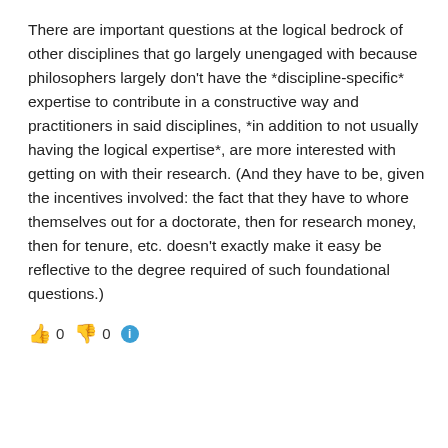There are important questions at the logical bedrock of other disciplines that go largely unengaged with because philosophers largely don't have the *discipline-specific* expertise to contribute in a constructive way and practitioners in said disciplines, *in addition to not usually having the logical expertise*, are more interested with getting on with their research. (And they have to be, given the incentives involved: the fact that they have to whore themselves out for a doctorate, then for research money, then for tenure, etc. doesn't exactly make it easy be reflective to the degree required of such foundational questions.)
👍 0 👎 0 ℹ